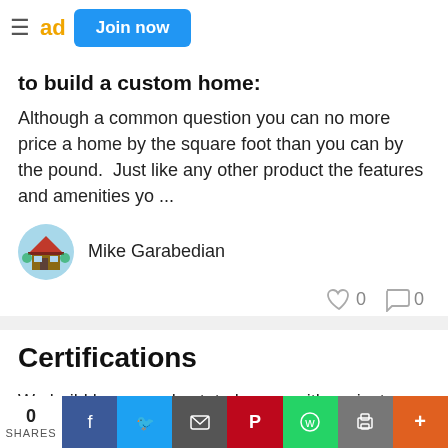≡ ad  Join now
to build a custom home:
Although a common question you can no more price a home by the square foot than you can by the pound.  Just like any other product the features and amenities yo ...
Mike Garabedian
Certifications
We build luxury and estate homes with project sizes up to 20,000 sqft.  We are Realtors that service our own homes as well as provide support to our families and
0 SHARES  [Facebook] [Twitter] [Email] [Pinterest] [WhatsApp] [Print] [+]